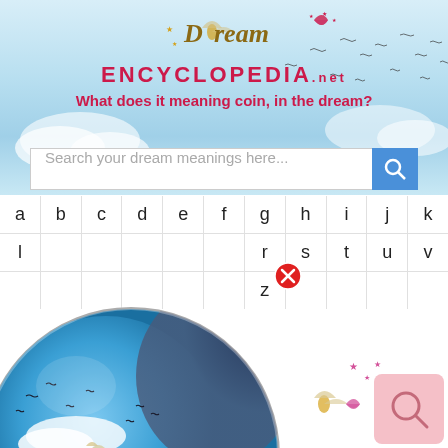[Figure (screenshot): Dream Encyclopedia website header with sky/clouds background, logo with fairy and butterfly, search bar, and alphabet navigation grid with globe popup]
Dream Encyclopedia .net
What does it meaning coin, in the dream?
Search your dream meanings here...
[Figure (screenshot): Alphabet navigation grid showing letters a through z in bordered cells, with a globe/world image popup showing Dream Encyclopedia logo overlaying some letters, and a red close button]